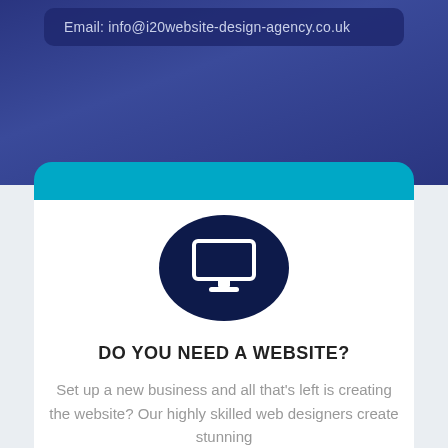Email: info@i20website-design-agency.co.uk
[Figure (illustration): Dark navy circle with white monitor/desktop computer icon in the center]
DO YOU NEED A WEBSITE?
Set up a new business and all that's left is creating the website? Our highly skilled web designers create stunning